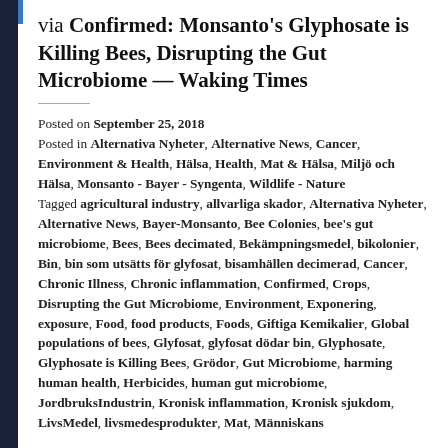via Confirmed: Monsanto's Glyphosate is Killing Bees, Disrupting the Gut Microbiome — Waking Times
Posted on September 25, 2018
Posted in Alternativa Nyheter, Alternative News, Cancer, Environment & Health, Hälsa, Health, Mat & Hälsa, Miljö och Hälsa, Monsanto - Bayer - Syngenta, Wildlife - Nature
Tagged agricultural industry, allvarliga skador, Alternativa Nyheter, Alternative News, Bayer-Monsanto, Bee Colonies, bee's gut microbiome, Bees, Bees decimated, Bekämpningsmedel, bikolonier, Bin, bin som utsätts för glyfosat, bisamhällen decimerad, Cancer, Chronic Illness, Chronic inflammation, Confirmed, Crops, Disrupting the Gut Microbiome, Environment, Exponering, exposure, Food, food products, Foods, Giftiga Kemikalier, Global populations of bees, Glyfosat, glyfosat dödar bin, Glyphosate, Glyphosate is Killing Bees, Grödor, Gut Microbiome, harming human health, Herbicides, human gut microbiome, JordbruksIndustrin, Kronisk inflammation, Kronisk sjukdom, LivsMedel, livsmedesprodukter, Mat, Människans